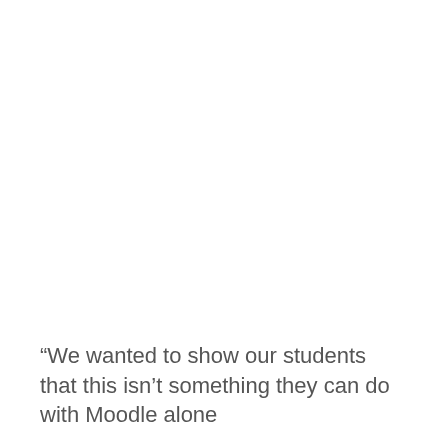“We wanted to show our students that this isn’t something they can do with Moodle alone